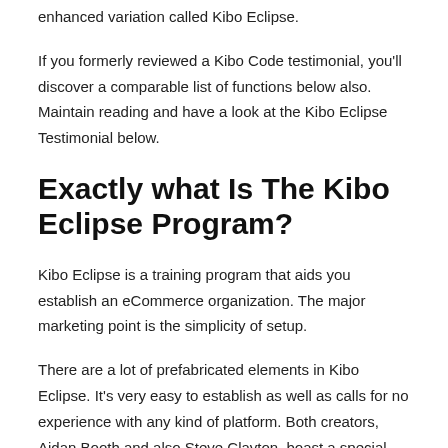enhanced variation called Kibo Eclipse.
If you formerly reviewed a Kibo Code testimonial, you'll discover a comparable list of functions below also. Maintain reading and have a look at the Kibo Eclipse Testimonial below.
Exactly what Is The Kibo Eclipse Program?
Kibo Eclipse is a training program that aids you establish an eCommerce organization. The major marketing point is the simplicity of setup.
There are a lot of prefabricated elements in Kibo Eclipse. It's very easy to establish as well as calls for no experience with any kind of platform. Both creators, Aidan Booth and also Steve Clayton, boast a special training technique that works also for complete laymen.